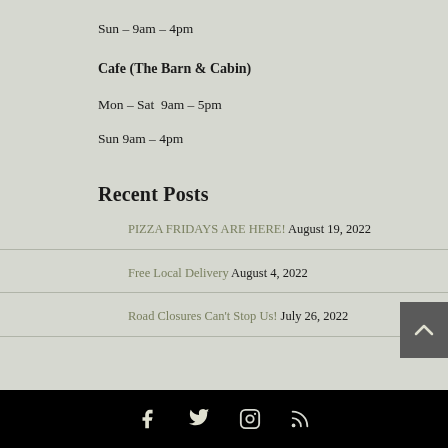Sun – 9am – 4pm
Cafe (The Barn & Cabin)
Mon – Sat  9am – 5pm
Sun 9am – 4pm
Recent Posts
PIZZA FRIDAYS ARE HERE! August 19, 2022
Free Local Delivery August 4, 2022
Road Closures Can't Stop Us! July 26, 2022
Social media icons: Facebook, Twitter, Instagram, RSS